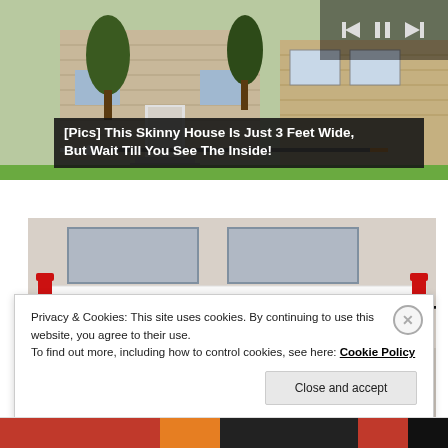[Figure (photo): Photo of a suburban house with trees and driveway, with media player controls visible at top right]
[Pics] This Skinny House Is Just 3 Feet Wide, But Wait Till You See The Inside!
[Figure (photo): Photo of a Social Security Administration building exterior with large sign reading SOCIAL SECURITY ADMINISTRATION]
Privacy & Cookies: This site uses cookies. By continuing to use this website, you agree to their use.
To find out more, including how to control cookies, see here: Cookie Policy